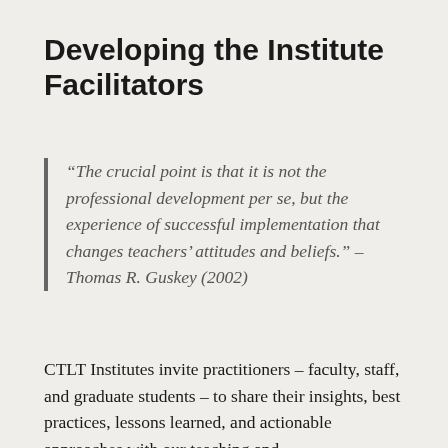Developing the Institute Facilitators
“The crucial point is that it is not the professional development per se, but the experience of successful implementation that changes teachers’ attitudes and beliefs.” – Thomas R. Guskey (2002)
CTLT Institutes invite practitioners – faculty, staff, and graduate students – to share their insights, best practices, lessons learned, and actionable approaches with our teaching and